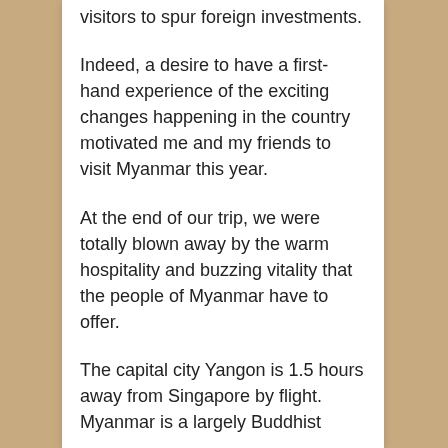visitors to spur foreign investments.
Indeed, a desire to have a first-hand experience of the exciting changes happening in the country motivated me and my friends to visit Myanmar this year.
At the end of our trip, we were totally blown away by the warm hospitality and buzzing vitality that the people of Myanmar have to offer.
The capital city Yangon is 1.5 hours away from Singapore by flight. Myanmar is a largely Buddhist